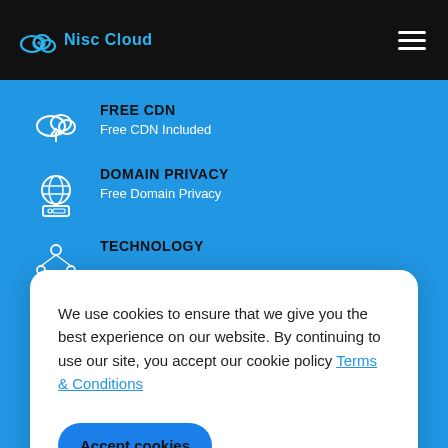Nisc Cloud
FREE CDN
Free CDN Included
DOMAIN PRIVACY
Free Domain Privacy
TECHNOLOGY
We use cookies to ensure that we give you the best experience on our website. By continuing to use our site, you accept our cookie policy Terms & Conditions
Accept cookies
Customize cookies
Phone,Chat,Tickets